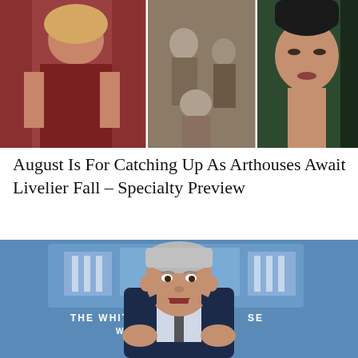[Figure (photo): Collage of three photos: a woman in a red dress on the left, a vintage black-and-white photo of people in the middle, and a close-up of a person's face on the right]
August Is For Catching Up As Arthouses Await Livelier Fall – Specialty Preview
[Figure (photo): Dr. Anthony Fauci speaking at a White House press briefing podium, wearing a dark suit and tie, with 'THE WHITE HOUSE WASHINGTON' text visible in the background]